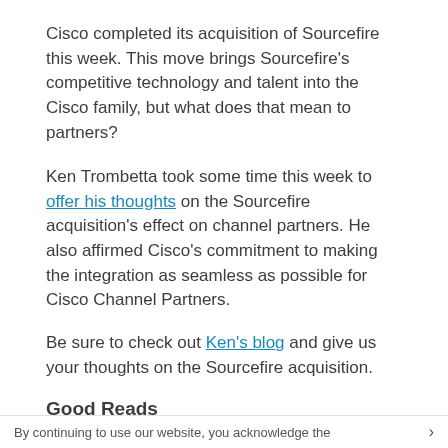Cisco completed its acquisition of Sourcefire this week. This move brings Sourcefire’s competitive technology and talent into the Cisco family, but what does that mean to partners?
Ken Trombetta took some time this week to offer his thoughts on the Sourcefire acquisition’s effect on channel partners. He also affirmed Cisco’s commitment to making the integration as seamless as possible for Cisco Channel Partners.
Be sure to check out Ken’s blog and give us your thoughts on the Sourcefire acquisition.
Good Reads
Michael Fuhrman talks security as
By continuing to use our website, you acknowledge the